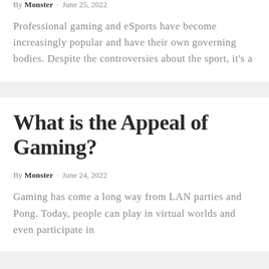By Monster · June 25, 2022
Professional gaming and eSports have become increasingly popular and have their own governing bodies. Despite the controversies about the sport, it's a
What is the Appeal of Gaming?
By Monster · June 24, 2022
Gaming has come a long way from LAN parties and Pong. Today, people can play in virtual worlds and even participate in